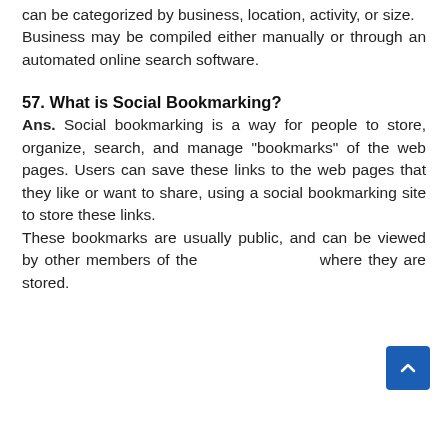can be categorized by business, location, activity, or size. Business may be compiled either manually or through an automated online search software.
57. What is Social Bookmarking?
Ans. Social bookmarking is a way for people to store, organize, search, and manage "bookmarks" of the web pages. Users can save these links to the web pages that they like or want to share, using a social bookmarking site to store these links. These bookmarks are usually public, and can be viewed by other members of the site where they are stored.